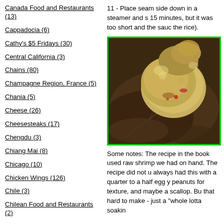Canada Food and Restaurants (13)
Cappadocia (6)
Cathy's $5 Fridays (30)
Central California (3)
Chains (80)
Champagne Region, France (5)
Chania (5)
Cheese (26)
Cheesesteaks (17)
Chengdu (3)
Chiang Mai (8)
Chicago (10)
Chicken Wings (126)
Chile (3)
Chilean Food and Restaurants (2)
China (56)
Chinese BBQ (36)
Chinese Restaurants (594)
11 - Place seam side down in a steamer and s 15 minutes, but it was too short and the sauc the rice).
[Figure (photo): A food photograph showing what appears to be a rice dumpling or ball wrapped/served on a dried leaf, with a green border around the image.]
Some notes: The recipe in the book used raw shrimp we had on hand. The recipe did not u always had this with a quarter to a half egg y peanuts for texture, and maybe a scallop. Bu that hard to make - just a "whole lotta soakin